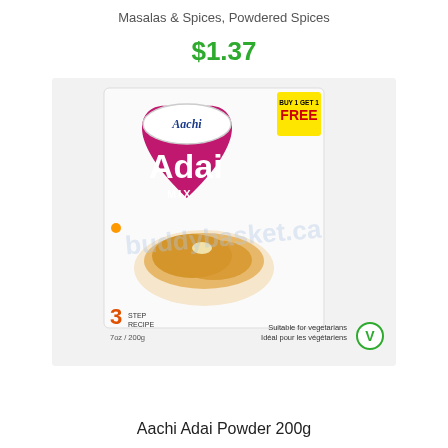Masalas & Spices, Powdered Spices
$1.37
[Figure (photo): Aachi Adai Mix 200g product box with a pink heart design, showing the brand name Aachi at the top, large white text reading Adai Mix, a plate of adai (lentil pancakes) at the bottom, a BUY 1 GET 1 FREE badge in yellow and red in the top right, and a 3 step recipe label. Watermark text reads buddybasket.ca. Bottom right shows a vegetarian symbol with text Suitable for vegetarians / Idéal pour les végétariens.]
Aachi Adai Powder 200g